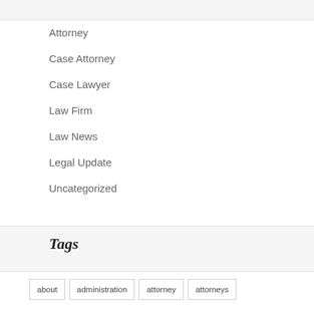Attorney
Case Attorney
Case Lawyer
Law Firm
Law News
Legal Update
Uncategorized
Tags
about
administration
attorney
attorneys